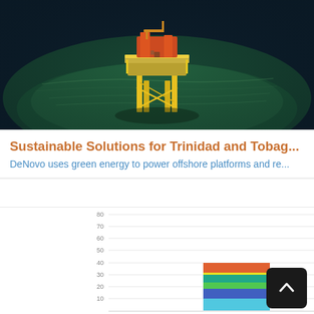[Figure (photo): Aerial view of an offshore oil/gas platform in dark teal ocean water, with yellow structural elements and orange equipment on top]
Sustainable Solutions for Trinidad and Tobag...
DeNovo uses green energy to power offshore platforms and re...
[Figure (stacked-bar-chart): Stacked bar chart with two bars, second bar taller (~72) than first (~41). Multiple colored segments: orange-red, yellow, teal, green, blue, light-blue. Y-axis from 0 to 80 with gridlines at 10, 20, 30, 40, 50, 60, 70, 80.]